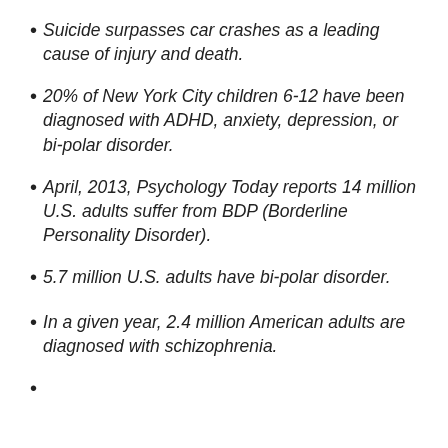Suicide surpasses car crashes as a leading cause of injury and death.
20% of New York City children 6-12 have been diagnosed with ADHD, anxiety, depression, or bi-polar disorder.
April, 2013, Psychology Today reports 14 million U.S. adults suffer from BDP (Borderline Personality Disorder).
5.7 million U.S. adults have bi-polar disorder.
In a given year, 2.4 million American adults are diagnosed with schizophrenia.
Approximately 4 million U.S. adults...